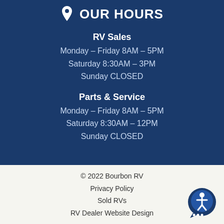OUR HOURS
RV Sales
Monday – Friday 8AM – 5PM
Saturday 8:30AM – 3PM
Sunday CLOSED
Parts & Service
Monday – Friday 8AM – 5PM
Saturday 8:30AM – 12PM
Sunday CLOSED
© 2022 Bourbon RV
Privacy Policy
Sold RVs
RV Dealer Website Design